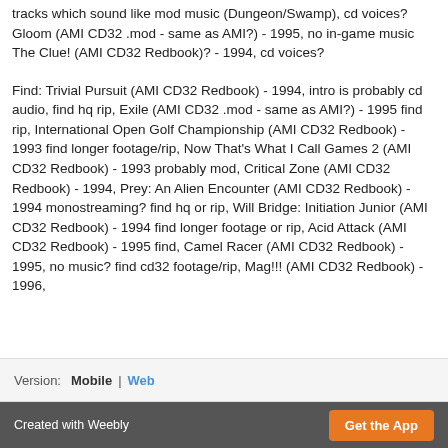tracks which sound like mod music (Dungeon/Swamp), cd voices? Gloom (AMI CD32 .mod - same as AMI?) - 1995, no in-game music The Clue! (AMI CD32 Redbook)? - 1994, cd voices?
Find: Trivial Pursuit (AMI CD32 Redbook) - 1994, intro is probably cd audio, find hq rip, Exile (AMI CD32 .mod - same as AMI?) - 1995 find rip, International Open Golf Championship (AMI CD32 Redbook) - 1993 find longer footage/rip, Now That's What I Call Games 2 (AMI CD32 Redbook) - 1993 probably mod, Critical Zone (AMI CD32 Redbook) - 1994, Prey: An Alien Encounter (AMI CD32 Redbook) - 1994 monostreaming? find hq or rip, Will Bridge: Initiation Junior (AMI CD32 Redbook) - 1994 find longer footage or rip, Acid Attack (AMI CD32 Redbook) - 1995 find, Camel Racer (AMI CD32 Redbook) - 1995, no music? find cd32 footage/rip, Mag!!! (AMI CD32 Redbook) - 1996,
Version: Mobile | Web
Created with Weebly   Get the App